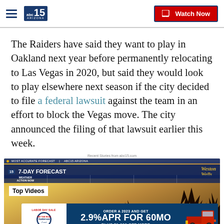abc15 Arizona — Watch Now
The Raiders have said they want to play in Oakland next year before permanently relocating to Las Vegas in 2020, but said they would look to play elsewhere next season if the city decided to file a federal lawsuit against the team in an effort to block the Vegas move. The city announced the filing of that lawsuit earlier this week.
Recent Stories from abc15.com
[Figure (screenshot): ABC15 Arizona 7-Day Forecast weather segment screenshot with 'Top Videos' label overlay and a car dealership ad banner at the bottom showing '2.9% APR for 60MO PLUS $1,000 OFF MSRP' for Anderson Ford Labor Day Sale 2023]